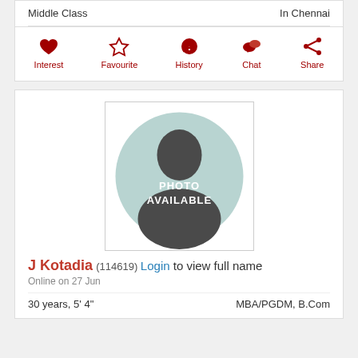Middle Class
In Chennai
Interest  Favourite  History  Chat  Share
[Figure (photo): Profile photo placeholder showing silhouette with text PHOTO AVAILABLE]
J Kotadia (114619) Login to view full name
Online on 27 Jun
30 years, 5' 4"    MBA/PGDM, B.Com